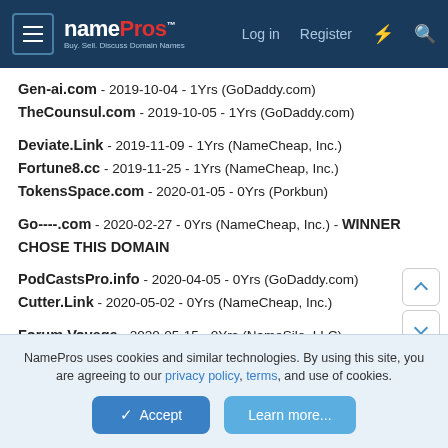namePros - Log in - Register
Gen-ai.com - 2019-10-04 - 1Yrs (GoDaddy.com)
TheCounsul.com - 2019-10-05 - 1Yrs (GoDaddy.com)
Deviate.Link - 2019-11-09 - 1Yrs (NameCheap, Inc.)
Fortune8.cc - 2019-11-25 - 1Yrs (NameCheap, Inc.)
TokensSpace.com - 2020-01-05 - 0Yrs (Porkbun)
Go----.com - 2020-02-27 - 0Yrs (NameCheap, Inc.) - WINNER CHOSE THIS DOMAIN
PodCastsPro.info - 2020-04-05 - 0Yrs (GoDaddy.com)
Cutter.Link - 2020-05-02 - 0Yrs (NameCheap, Inc.)
Forum.Voyage - 2020-05-15 - 0Yrs (NameSilo, LLC)
vBio.tech - 2019-11-25 - 1Yrs (NameCheap, Inc.)
NamePros uses cookies and similar technologies. By using this site, you are agreeing to our privacy policy, terms, and use of cookies.